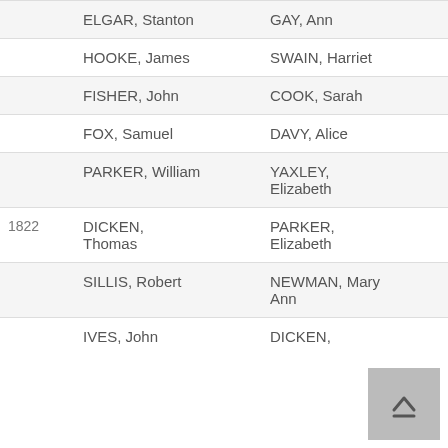| Year | Groom | Bride |
| --- | --- | --- |
|  | ELGAR, Stanton | GAY, Ann |
|  | HOOKE, James | SWAIN, Harriet |
|  | FISHER, John | COOK, Sarah |
|  | FOX, Samuel | DAVY, Alice |
|  | PARKER, William | YAXLEY, Elizabeth |
| 1822 | DICKEN, Thomas | PARKER, Elizabeth |
|  | SILLIS, Robert | NEWMAN, Mary Ann |
|  | IVES, John | DICKEN, |